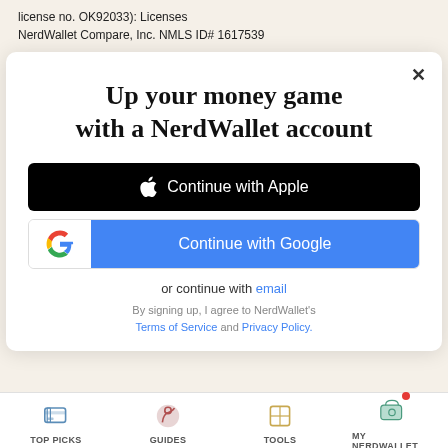license no. OK92033): Licenses
NerdWallet Compare, Inc. NMLS ID# 1617539
Up your money game with a NerdWallet account
[Figure (screenshot): Continue with Apple button - black button with Apple logo]
[Figure (screenshot): Continue with Google button - white Google logo box on left, blue button on right]
or continue with email
By signing up, I agree to NerdWallet's Terms of Service and Privacy Policy.
TOP PICKS   GUIDES   TOOLS   MY NERDWALLET